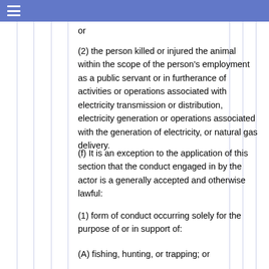☰
or
(2) the person killed or injured the animal within the scope of the person's employment as a public servant or in furtherance of activities or operations associated with electricity transmission or distribution, electricity generation or operations associated with the generation of electricity, or natural gas delivery.
(f) It is an exception to the application of this section that the conduct engaged in by the actor is a generally accepted and otherwise lawful:
(1) form of conduct occurring solely for the purpose of or in support of:
(A) fishing, hunting, or trapping; or